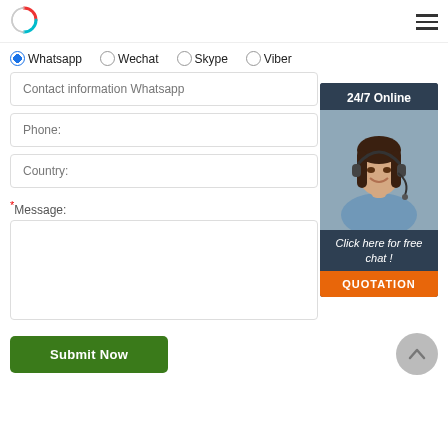[Figure (logo): Circular logo with red and teal colors]
[Figure (other): Hamburger menu icon (three horizontal lines)]
Whatsapp  Wechat  Skype  Viber (radio button options, Whatsapp selected)
Contact information Whatsapp
Phone:
Country:
*Message:
[Figure (infographic): 24/7 Online chat widget with photo of smiling woman with headset, text 'Click here for free chat !' and orange QUOTATION button]
Submit Now
[Figure (other): Scroll to top button (grey circle with upward chevron)]